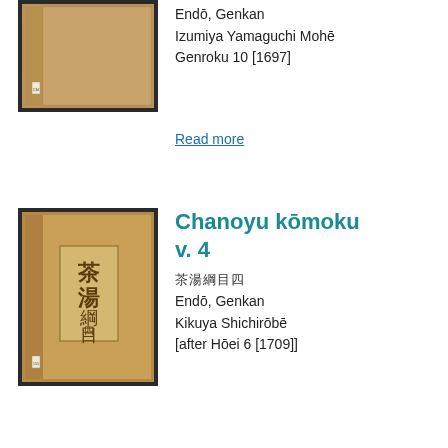[Figure (photo): A framed photograph of a Japanese book cover/binding (top item), brown/tan colored with a small label visible]
Endō, Genkan
Izumiya Yamaguchi Mohē
Genroku 10 [1697]
Read more
[Figure (photo): A framed photograph of a Japanese book cover with vertical text characters 茶湯綱目 and a small label at the bottom]
Chanoyu kōmoku v. 4
茶湯綱目四
Endō, Genkan
Kikuya Shichirōbē
[after Hōei 6 [1709]]
Read more